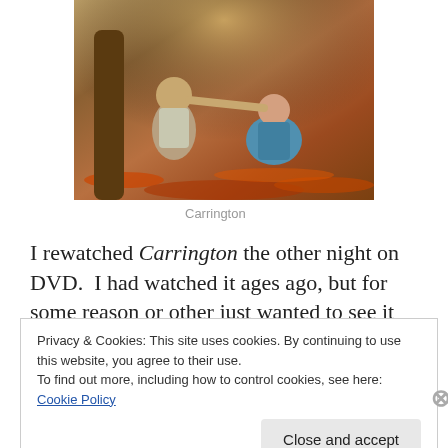[Figure (photo): Two people sitting outdoors under a tree on fallen autumn leaves. A bearded man in a vest and a woman in a teal dress.]
Carrington
I rewatched Carrington the other night on DVD.  I had watched it ages ago, but for some reason or other just wanted to see it again.  The film is about the artist Dora
Privacy & Cookies: This site uses cookies. By continuing to use this website, you agree to their use.
To find out more, including how to control cookies, see here: Cookie Policy